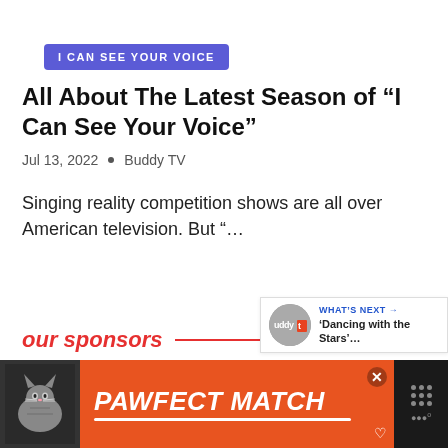I CAN SEE YOUR VOICE
All About The Latest Season of “I Can See Your Voice”
Jul 13, 2022 • Buddy TV
Singing reality competition shows are all over American television. But “…
our sponsors
WHAT’S NEXT → 'Dancing with the Stars'…
[Figure (infographic): PAWFECT MATCH advertisement banner with cat image on dark background and orange panel]